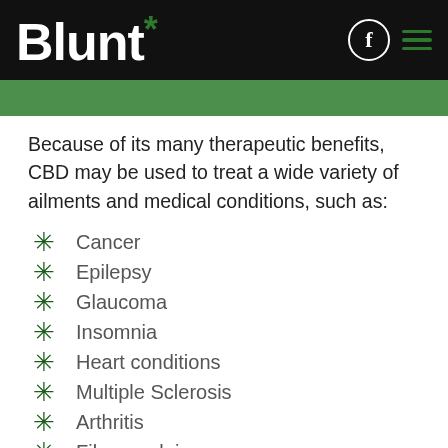Blunt*
Because of its many therapeutic benefits, CBD may be used to treat a wide variety of ailments and medical conditions, such as:
Cancer
Epilepsy
Glaucoma
Insomnia
Heart conditions
Multiple Sclerosis
Arthritis
Fibromyalgia